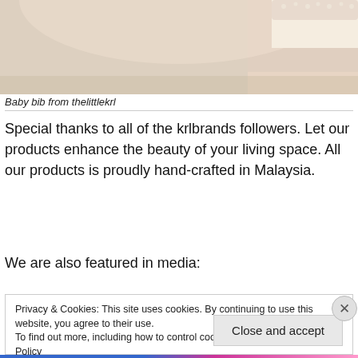[Figure (photo): Partial image of a baby bib with lace trim from thelittlekrl, showing fabric and decorative lace edge at top of page]
Baby bib from thelittlekrl
Special thanks to all of the krlbrands followers. Let our products enhance the beauty of your living space. All our products is proudly hand-crafted in Malaysia.
We are also featured in media:
Privacy & Cookies: This site uses cookies. By continuing to use this website, you agree to their use.
To find out more, including how to control cookies, see here: Cookie Policy
Close and accept